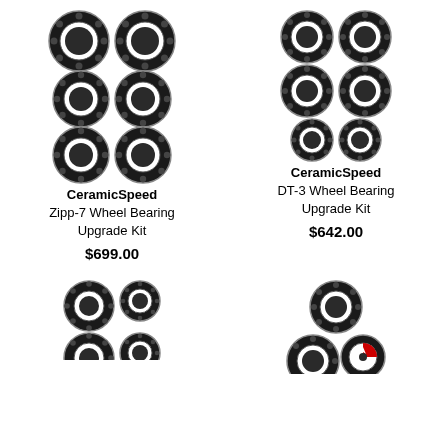[Figure (illustration): Product image: CeramicSpeed Zipp-7 Wheel Bearing Upgrade Kit — three rows of two black ball bearings]
CeramicSpeed
Zipp-7 Wheel Bearing
Upgrade Kit
$699.00
[Figure (illustration): Product image: CeramicSpeed DT-3 Wheel Bearing Upgrade Kit — two rows of two smaller black ball bearings and one row of two smaller bearings]
CeramicSpeed
DT-3 Wheel Bearing
Upgrade Kit
$642.00
[Figure (illustration): Product image bottom left: two black ball bearings visible, partially cut off]
[Figure (illustration): Product image bottom right: one black ball bearing and partial CeramicSpeed logo, partially cut off]